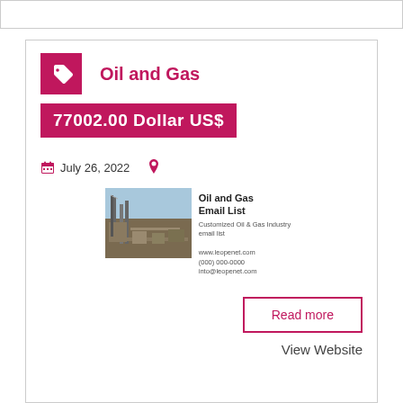Oil and Gas
77002.00 Dollar US$
July 26, 2022
[Figure (photo): Oil and Gas Email List product listing image showing an industrial oil facility]
Read more
View Website